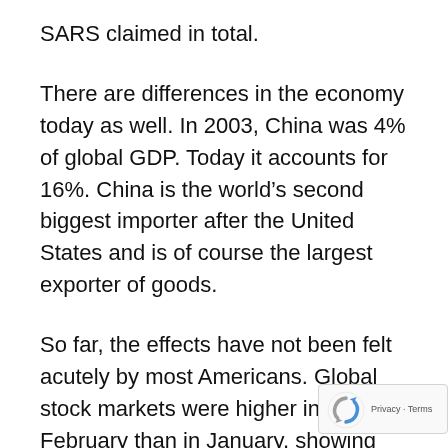SARS claimed in total.
There are differences in the economy today as well. In 2003, China was 4% of global GDP. Today it accounts for 16%. China is the world’s second biggest importer after the United States and is of course the largest exporter of goods.
So far, the effects have not been felt acutely by most Americans. Global stock markets were higher in early February than in January, showing investor optimism in the recovery, but tumbled on Monday the 24th by 1,000 points and